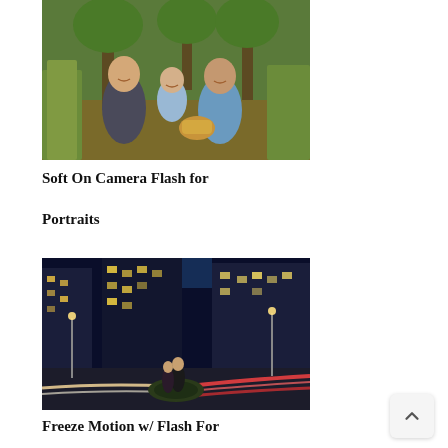[Figure (photo): Family portrait outdoors — man, young child, and woman sitting on grass among tall reeds, smiling, woman holding a wicker basket]
Soft On Camera Flash for Portraits
[Figure (photo): Night scene of couple standing on a traffic island in a city at night with streaking car light trails and illuminated skyscrapers in the background]
Freeze Motion w/ Flash For Creativity